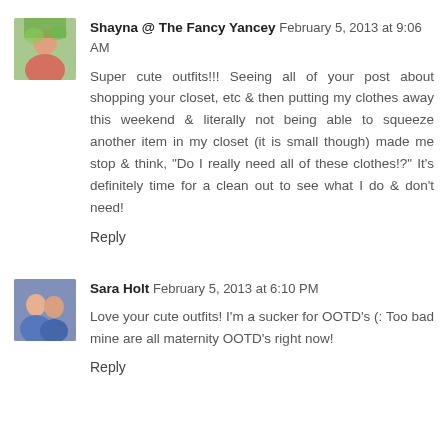[Figure (photo): Small avatar photo of a woman outdoors with green background]
Shayna @ The Fancy Yancey February 5, 2013 at 9:06 AM
Super cute outfits!!! Seeing all of your post about shopping your closet, etc & then putting my clothes away this weekend & literally not being able to squeeze another item in my closet (it is small though) made me stop & think, "Do I really need all of these clothes!?" It's definitely time for a clean out to see what I do & don't need!
Reply
[Figure (photo): Small avatar photo of a couple]
Sara Holt February 5, 2013 at 6:10 PM
Love your cute outfits! I'm a sucker for OOTD's (: Too bad mine are all maternity OOTD's right now!
Reply